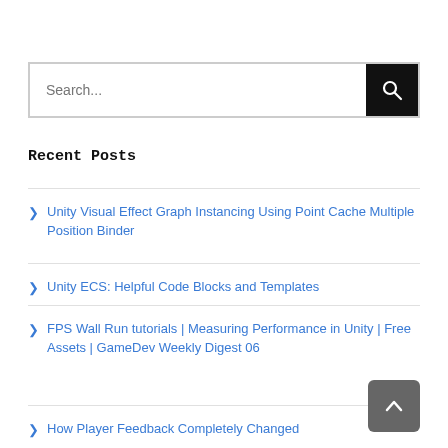Search...
Recent Posts
Unity Visual Effect Graph Instancing Using Point Cache Multiple Position Binder
Unity ECS: Helpful Code Blocks and Templates
FPS Wall Run tutorials | Measuring Performance in Unity | Free Assets | GameDev Weekly Digest 06
How Player Feedback Completely Changed